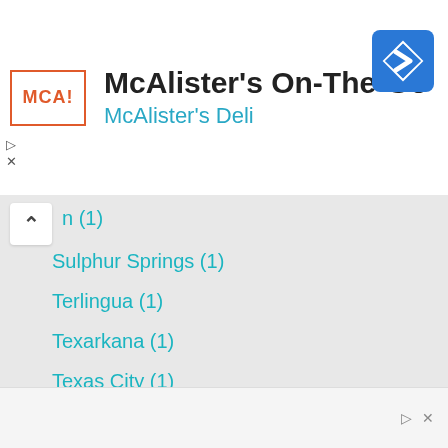McAlister's On-The-Go — McAlister's Deli
n (1)
Sulphur Springs (1)
Terlingua (1)
Texarkana (1)
Texas City (1)
The Woodlands (1)
Tyler (1)
Van Horn (1)
Victoria (1)
Waco (2)
Webster (1)
Weslaco (1)
Wichita Falls (1)